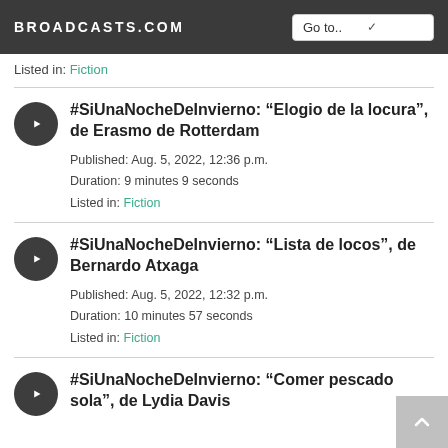BROADCASTS.COM
Listed in: Fiction
#SiUnaNocheDeInvierno: “Elogio de la locura”, de Erasmo de Rotterdam
Published: Aug. 5, 2022, 12:36 p.m.
Duration: 9 minutes 9 seconds
Listed in: Fiction
#SiUnaNocheDeInvierno: “Lista de locos”, de Bernardo Atxaga
Published: Aug. 5, 2022, 12:32 p.m.
Duration: 10 minutes 57 seconds
Listed in: Fiction
#SiUnaNocheDeInvierno: “Comer pescado sola”, de Lydia Davis